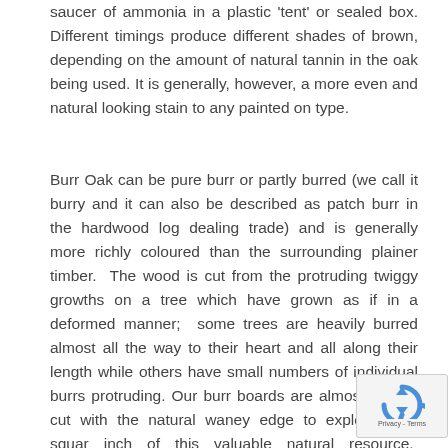saucer of ammonia in a plastic 'tent' or sealed box. Different timings produce different shades of brown, depending on the amount of natural tannin in the oak being used. It is generally, however, a more even and natural looking stain to any painted on type.
Burr Oak can be pure burr or partly burred (we call it burry and it can also be described as patch burr in the hardwood log dealing trade) and is generally more richly coloured than the surrounding plainer timber. The wood is cut from the protruding twiggy growths on a tree which have grown as if in a deformed manner; some trees are heavily burred almost all the way to their heart and all along their length while others have small numbers of individual burrs protruding. Our burr boards are almost always cut with the natural waney edge to exploit every square inch of this valuable natural resource. Because the grain in a burr is so wild and goes in many different directions it is better at resisting splitting and is fairly